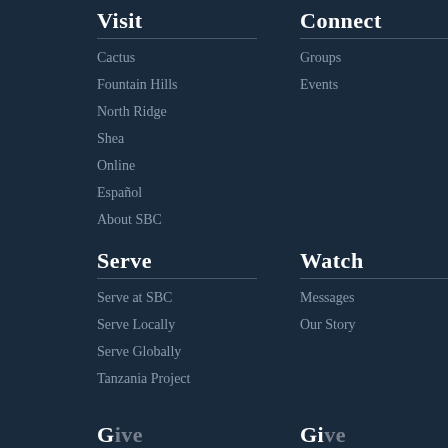Visit
Cactus
Fountain Hills
North Ridge
Shea
Online
Español
About SBC
Connect
Groups
Events
Serve
Serve at SBC
Serve Locally
Serve Globally
Tanzania Project
Watch
Messages
Our Story